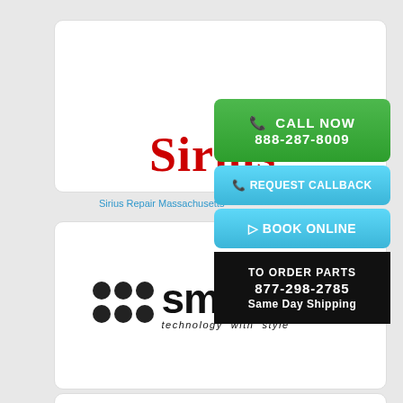[Figure (logo): Sirius brand logo in red bold serif font]
Sirius Repair Massachusetts
[Figure (logo): smeg brand logo with three dot cluster and 'technology with style' tagline]
Smeg Repair Massachusetts
📞 CALL NOW
888-287-8009
📞 REQUEST CALLBACK
▶ BOOK ONLINE
TO ORDER PARTS
877-298-2785
Same Day Shipping